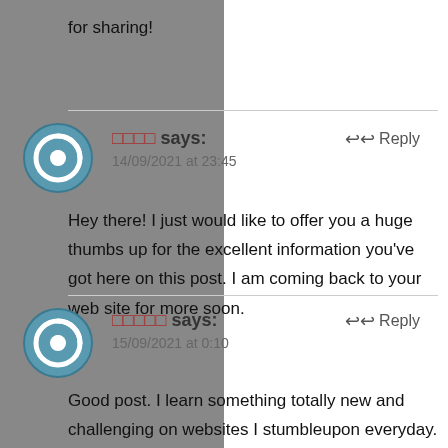for sharing!
□□□□ says:
14/09/2021 at 23:45
Hey there! I just would like to offer you a huge thumbs up for the excellent information you've got here on this post. I am coming back to your web site for more soon.
□□□□□ says:
15/09/2021 at 0:10
Good post. I learn something totally new and challenging on websites I stumbleupon everyday. It's always exciting to read through content from other authors and use something from other web sites.